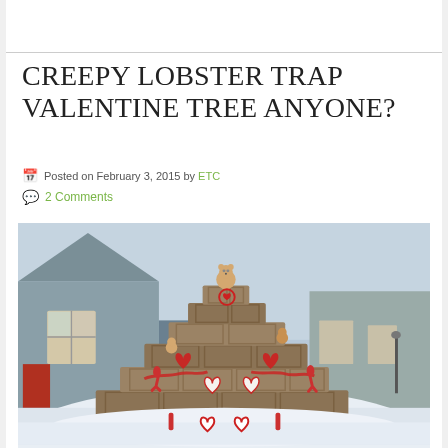CREEPY LOBSTER TRAP VALENTINE TREE ANYONE?
Posted on February 3, 2015 by ETC
2 Comments
[Figure (photo): A pyramid-shaped stack of lobster traps decorated with Valentine's Day items including stuffed teddy bears, red heart wreaths, red lobsters, and other holiday decorations, set in snow in front of a grey clapboard building.]